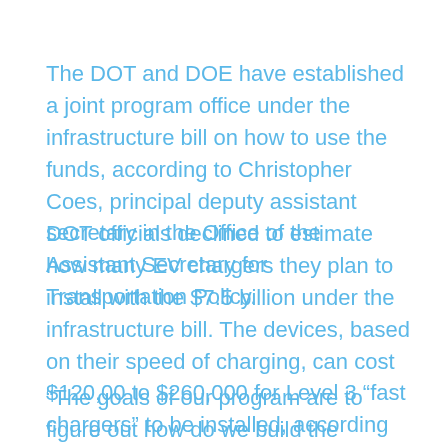The DOT and DOE have established a joint program office under the infrastructure bill on how to use the funds, according to Christopher Coes, principal deputy assistant secretary in the Office of the Assistant Secretary for Transportation Policy.
DOT officials declined to estimate how many EV chargers they plan to install with the $7.5 billion under the infrastructure bill. The devices, based on their speed of charging, can cost $120,00 to $260,000 for Level 3 “fast chargers” to be installed, according to AlixPartners.
“The goals of our program are to figure out how do we build the market? How do ensure that we are investing in places that aren’t the first places private sector investors are going to go to,” he said, citing inner cities, multifamily locations